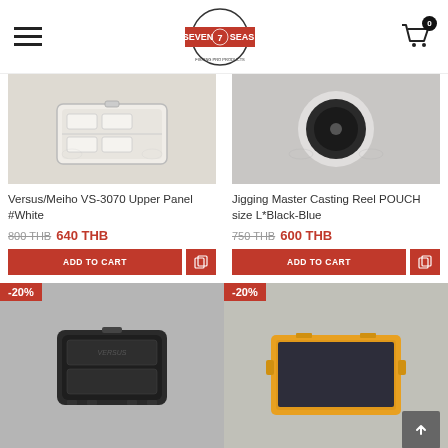Seven Seas - navigation header with logo and cart
[Figure (photo): Versus/Meiho VS-3070 Upper Panel white tackle box image]
Versus/Meiho VS-3070 Upper Panel #White
800 THB  640 THB
[Figure (photo): Jigging Master Casting Reel Pouch size L Black-Blue image]
Jigging Master Casting Reel POUCH size L*Black-Blue
750 THB  600 THB
[Figure (photo): Black tackle box with -20% discount badge]
[Figure (photo): Yellow and black tackle box with -20% discount badge]